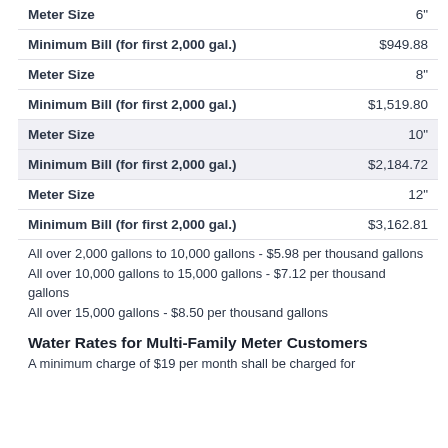| Field | Value |
| --- | --- |
| Meter Size | 6" |
| Minimum Bill (for first 2,000 gal.) | $949.88 |
| Meter Size | 8" |
| Minimum Bill (for first 2,000 gal.) | $1,519.80 |
| Meter Size | 10" |
| Minimum Bill (for first 2,000 gal.) | $2,184.72 |
| Meter Size | 12" |
| Minimum Bill (for first 2,000 gal.) | $3,162.81 |
All over 2,000 gallons to 10,000 gallons - $5.98 per thousand gallons
All over 10,000 gallons to 15,000 gallons - $7.12 per thousand gallons
All over 15,000 gallons - $8.50 per thousand gallons
Water Rates for Multi-Family Meter Customers
A minimum charge of $19 per month shall be charged for